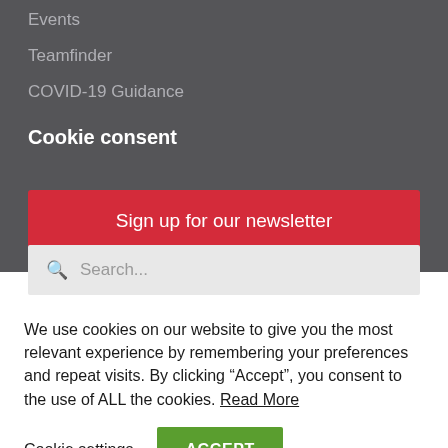Events
Teamfinder
COVID-19 Guidance
Cookie consent
Sign up for our newsletter
Search...
We use cookies on our website to give you the most relevant experience by remembering your preferences and repeat visits. By clicking “Accept”, you consent to the use of ALL the cookies. Read More
Cookie settings
ACCEPT